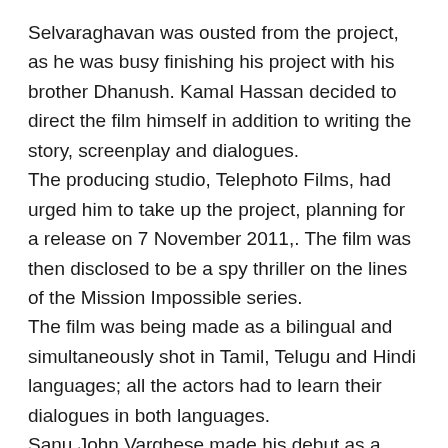Selvaraghavan was ousted from the project, as he was busy finishing his project with his brother Dhanush. Kamal Hassan decided to direct the film himself in addition to writing the story, screenplay and dialogues.
The producing studio, Telephoto Films, had urged him to take up the project, planning for a release on 7 November 2011,. The film was then disclosed to be a spy thriller on the lines of the Mission Impossible series.
The film was being made as a bilingual and simultaneously shot in Tamil, Telugu and Hindi languages; all the actors had to learn their dialogues in both languages.
Sanu John Varghese made his debut as a cinematographer in Tamil after previously working in